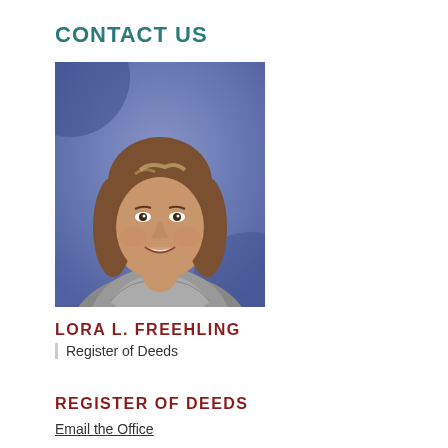CONTACT US
[Figure (photo): Professional headshot of Lora L. Freehling, a woman with shoulder-length brown hair with highlights, wearing a grey blazer over a dark top, smiling, with a blue background]
LORA L. FREEHLING
Register of Deeds
REGISTER OF DEEDS
Email the Office
Physical Address